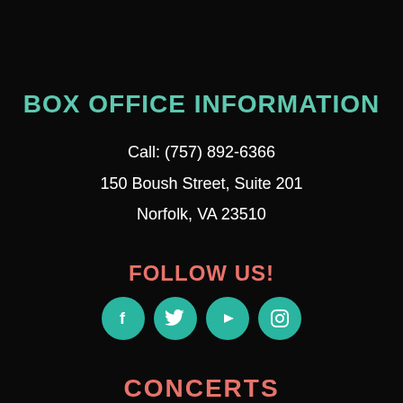BOX OFFICE INFORMATION
Call: (757) 892-6366
150 Boush Street, Suite 201
Norfolk, VA 23510
FOLLOW US!
[Figure (infographic): Four circular teal social media icons: Facebook (f), Twitter (bird), YouTube (play button), Instagram (camera)]
CONCERTS
[Figure (infographic): Hamburger menu icon with three horizontal salmon/coral colored lines]